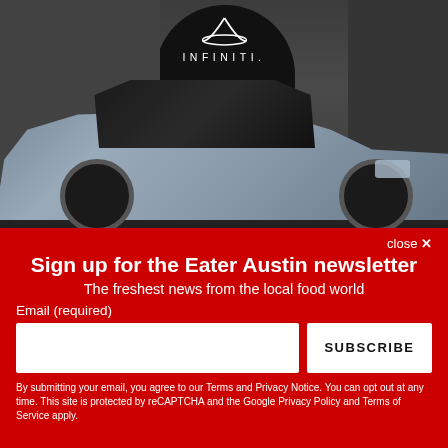[Figure (photo): Infiniti SUV advertisement showing a silver/grey Infiniti SUV parked in front of a dark stone building at night, with the Infiniti logo and wordmark at the top center of the image]
close ✕
Sign up for the Eater Austin newsletter
The freshest news from the local food world
Email (required)
SUBSCRIBE
By submitting your email, you agree to our Terms and Privacy Notice. You can opt out at any time. This site is protected by reCAPTCHA and the Google Privacy Policy and Terms of Service apply.